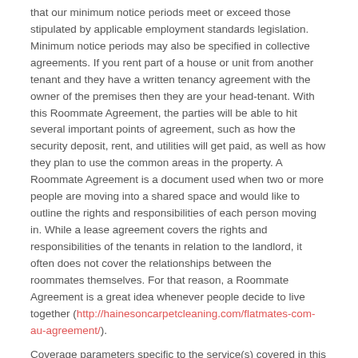that our minimum notice periods meet or exceed those stipulated by applicable employment standards legislation. Minimum notice periods may also be specified in collective agreements. If you rent part of a house or unit from another tenant and they have a written tenancy agreement with the owner of the premises then they are your head-tenant. With this Roommate Agreement, the parties will be able to hit several important points of agreement, such as how the security deposit, rent, and utilities will get paid, as well as how they plan to use the common areas in the property. A Roommate Agreement is a document used when two or more people are moving into a shared space and would like to outline the rights and responsibilities of each person moving in. While a lease agreement covers the rights and responsibilities of the tenants in relation to the landlord, it often does not cover the relationships between the roommates themselves. For that reason, a Roommate Agreement is a great idea whenever people decide to live together (http://hainesoncarpetcleaning.com/flatmates-com-au-agreement/).
Coverage parameters specific to the service(s) covered in this Agreement are as follows: As I mentioned at the beginning of